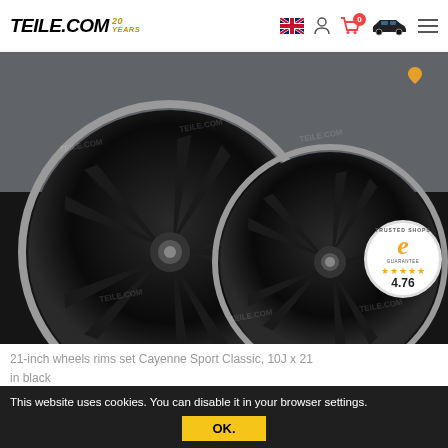TEILE.COM 20 YEARS
[Figure (photo): Two black 21-inch Cayenne Sport Classic wheel rims displayed on a dark background with TEILE.COM watermarks]
[Figure (logo): Trusted Shops guarantee badge with gold 'e' logo, 4 gold stars, and rating 4.76]
21-inch wheels rims set Cayenne Sport Classic, 10J x 21 in black
This website uses cookies. You can disable it in your browser settings.
OK.